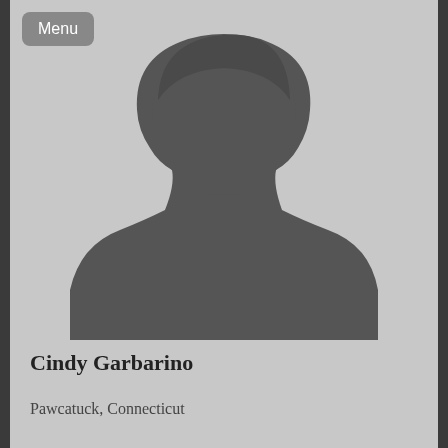[Figure (illustration): Generic placeholder silhouette of a person (head and shoulders) on a light gray background with a dark gray silhouette shape]
Cindy Garbarino
Pawcatuck, Connecticut